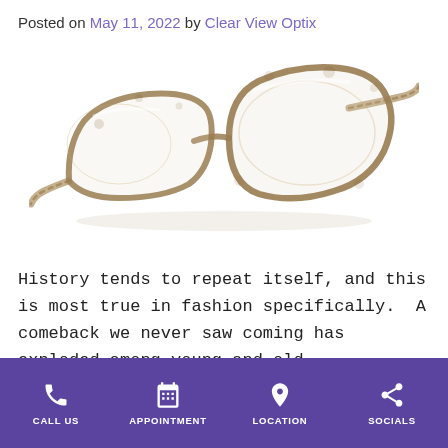Posted on May 11, 2022 by Clear View Optix
[Figure (photo): Tortoise-shell rectangular eyeglasses frames shown at a 3/4 angle on a white background]
History tends to repeat itself, and this is most true in fashion specifically. A comeback we never saw coming has exploded among young and old
CALL US  APPOINTMENT  LOCATION  SOCIALS